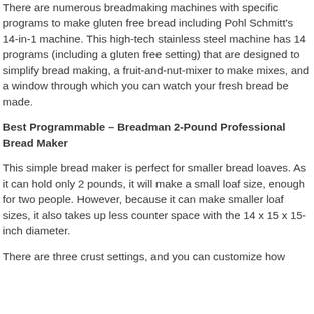There are numerous breadmaking machines with specific programs to make gluten free bread including Pohl Schmitt's 14-in-1 machine. This high-tech stainless steel machine has 14 programs (including a gluten free setting) that are designed to simplify bread making, a fruit-and-nut-mixer to make mixes, and a window through which you can watch your fresh bread be made.
Best Programmable – Breadman 2-Pound Professional Bread Maker
This simple bread maker is perfect for smaller bread loaves. As it can hold only 2 pounds, it will make a small loaf size, enough for two people. However, because it can make smaller loaf sizes, it also takes up less counter space with the 14 x 15 x 15-inch diameter.
There are three crust settings, and you can customize how